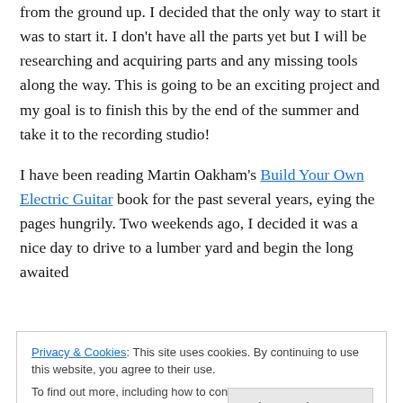from the ground up. I decided that the only way to start it was to start it. I don't have all the parts yet but I will be researching and acquiring parts and any missing tools along the way. This is going to be an exciting project and my goal is to finish this by the end of the summer and take it to the recording studio!
I have been reading Martin Oakham's Build Your Own Electric Guitar book for the past several years, eying the pages hungrily. Two weekends ago, I decided it was a nice day to drive to a lumber yard and begin the long awaited
Privacy & Cookies: This site uses cookies. By continuing to use this website, you agree to their use.
To find out more, including how to control cookies, see here: Cookie Policy
Close and accept
striking figure it contains, and the strength I needed in a